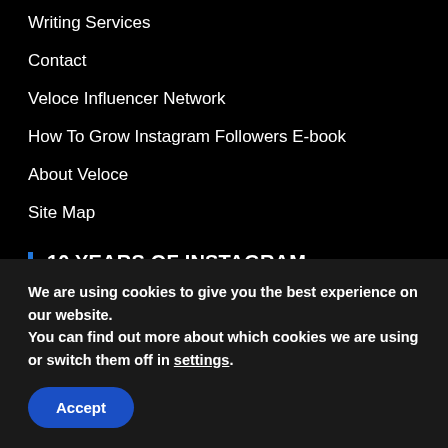Writing Services
Contact
Veloce Influencer Network
How To Grow Instagram Followers E-book
About Veloce
Site Map
10 YEARS OF INSTAGRAM KNOWLEDGE. ONE BOOK. 8K WORDS. 64 PAGES. FOR FREE.
We are using cookies to give you the best experience on our website.
You can find out more about which cookies we are using or switch them off in settings.
Accept